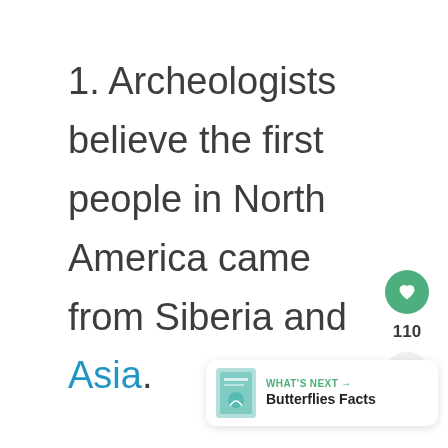1. Archeologists believe the first people in North America came from Siberia and Asia.
[Figure (screenshot): UI elements: a green heart/like button showing count 110, a share button, and a 'What's Next' card showing Butterflies Facts]